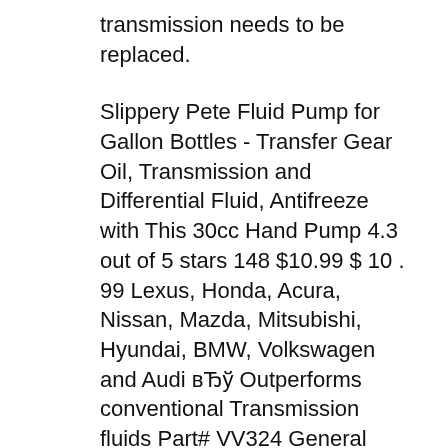transmission needs to be replaced.
Slippery Pete Fluid Pump for Gallon Bottles - Transfer Gear Oil, Transmission and Differential Fluid, Antifreeze with This 30cc Hand Pump 4.3 out of 5 stars 148 $10.99 $ 10 . 99 Lexus, Honda, Acura, Nissan, Mazda, Mitsubishi, Hyundai, BMW, Volkswagen and Audi вЂў Outperforms conventional Transmission fluids Part# VV324 General Motors & Chrysler: Valvoline Synchromesh Manual Transmission Fluid вЂў High performance manual Transmission lubricant AX-15 Manual Transmission 5-speed 1998-99
Jan 18, 2020В В· 2006 honda pilot how